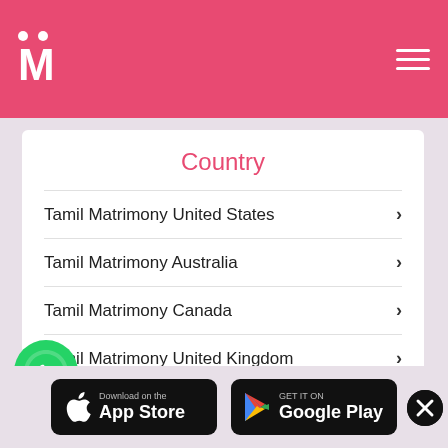M - Matrimony logo and navigation
Country
Tamil Matrimony United States
Tamil Matrimony Australia
Tamil Matrimony Canada
Tamil Matrimony United Kingdom
Tamil Matrimony India
View More
[Figure (logo): WhatsApp green circle icon with phone handset]
[Figure (logo): Download on the App Store button - black rounded rectangle with Apple logo]
[Figure (logo): GET IT ON Google Play button - black rounded rectangle with Play Store triangle logo]
[Figure (other): Close/X button - black circle with X]